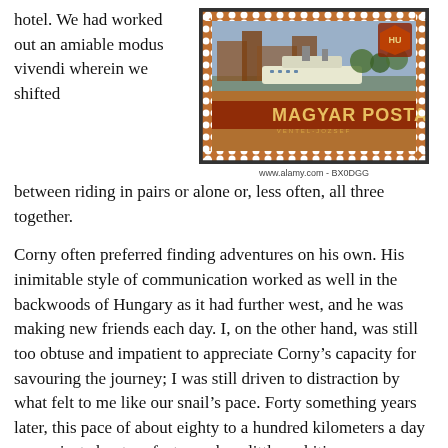hotel. We had worked out an amiable modus vivendi wherein we shifted between riding in pairs or alone or, less often, all three together.
[Figure (photo): Hungarian postage stamp showing 'MAGYAR POSTA' with a ship scene and decorative border with perforations. Alamy watermark: www.alamy.com - BX0DGG]
www.alamy.com - BX0DGG
Corny often preferred finding adventures on his own. His inimitable style of communication worked as well in the backwoods of Hungary as it had further west, and he was making new friends each day. I, on the other hand, was still too obtuse and impatient to appreciate Corny’s capacity for savouring the journey; I was still driven to distraction by what felt to me like our snail’s pace. Forty something years later, this pace of about eighty to a hundred kilometers a day seems just about perfect; maybe a little ambitious.
“Jesus Christ Patrick! Look at this. I don’t think I’ve ever seen something like this. What the hell happened here? Look, it goes on and on, all the way down the road.”